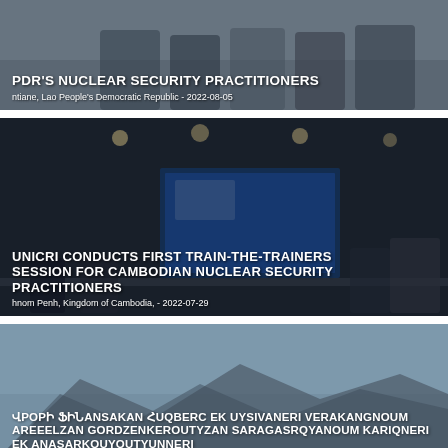[Figure (photo): Partial view of people standing at a nuclear security training event in Lao PDR]
PDR'S NUCLEAR SECURITY PRACTITIONERS
ntiane, Lao People's Democratic Republic - 2022-08-05
[Figure (photo): Conference room with attendees at a train-the-trainers session in Cambodia, blue-lit presentation screen visible]
UNICRI CONDUCTS FIRST TRAIN-THE-TRAINERS SESSION FOR CAMBODIAN NUCLEAR SECURITY PRACTITIONERS
hnom Penh, Kingdom of Cambodia, - 2022-07-29
[Figure (photo): Sky and mountain landscape background for Armenian-language article]
ՎPOPԻ ՖԻՆANSAKAN ՀUQBERC EK UYSIVANERI VERAKANGNOUM AREEELZAN GORDZENKEROUTYZAN SARAGASRQYANOUM KARIQNERI EK ANASARKOUYOUTYUNNERI